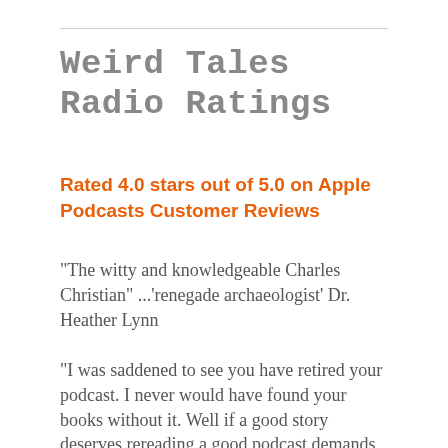Weird Tales Radio Ratings
Rated 4.0 stars out of 5.0 on Apple Podcasts Customer Reviews
"The witty and knowledgeable Charles Christian" ...'renegade archaeologist' Dr. Heather Lynn
"I was saddened to see you have retired your podcast. I never would have found your books without it. Well if a good story deserves rereading a good podcast demands relistening. Looking forward to your next stage with the time this change will afford you. Happy Trails, Pardner!"